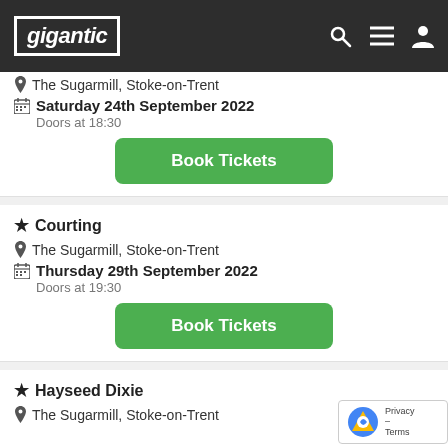gigantic
The Sugarmill, Stoke-on-Trent
Saturday 24th September 2022
Doors at 18:30
Book Tickets
Courting
The Sugarmill, Stoke-on-Trent
Thursday 29th September 2022
Doors at 19:30
Book Tickets
Hayseed Dixie
The Sugarmill, Stoke-on-Trent